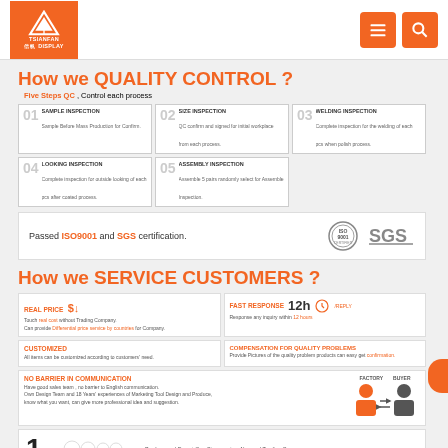TSIANFAN DISPLAY logo header with navigation icons
How we QUALITY CONTROL ?
Five Steps QC , Control each process
01 SAMPLE INSPECTION - Sample Before Mass Production for Confirm.
02 SIZE INSPECTION - QC confirm and signed for initial workplace from each process.
03 WELDING INSPECTION - Complete inspection for the welding of each pcs when polish process.
04 LOOKING INSPECTION - Complete inspection for outside looking of each pcs after coated process.
05 ASSEMBLY INSPECTION - Assemble 5 pairs randomly select for Assemble Inspection.
Passed ISO9001 and SGS certification.
How we SERVICE CUSTOMERS ?
REAL PRICE $↓ - Touch real cost without Trading Company. Can provide Differential price service by countries for Company.
FAST RESPONSE 12h – Response any inquiry within 12 hours
CUSTOMIZED - All items can be customized according to customers' need.
COMPENSATION FOR QUALITY PROBLEMS - Provide Pictures of the quality problem products can easy get confirmation.
NO BARRIER IN COMMUNICATION - Have good sales team, no barrier to English communication. Own Design Team and 18 Years' experiences of Marketing Tool Design and Produce, know what you want, can give more professional idea and suggestion.
Produce and Export One Stop service, No need Trading Company.